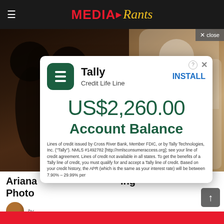MEDIA Rants
[Figure (photo): Two photos side by side: left shows couple kissing in dim light, right shows bride in white wedding dress and veil]
Ariana ... ing Photo ...
[Figure (screenshot): Tally Credit Life Line app advertisement overlay showing US$2,260.00 Account Balance with install button and fine print disclaimer]